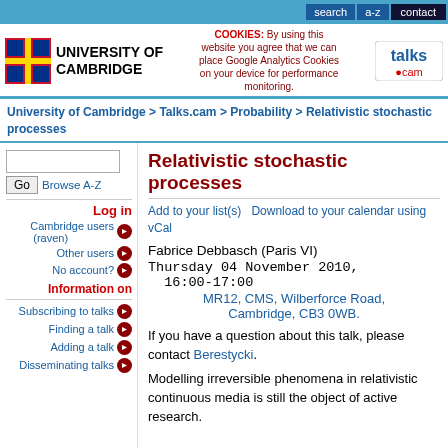search | a-z | contact
[Figure (logo): University of Cambridge shield logo and name, with cookie notice and talks.cam logo]
University of Cambridge > Talks.cam > Probability > Relativistic stochastic processes
Relativistic stochastic processes
Add to your list(s)    Download to your calendar using vCal
Fabrice Debbasch (Paris VI)
Thursday 04 November 2010, 16:00-17:00
MR12, CMS, Wilberforce Road, Cambridge, CB3 0WB.
If you have a question about this talk, please contact Berestycki.
Modelling irreversible phenomena in relativistic continuous media is still the object of active research.
Log in
Cambridge users (raven)
Other users
No account?
Information on
Subscribing to talks
Finding a talk
Adding a talk
Disseminating talks